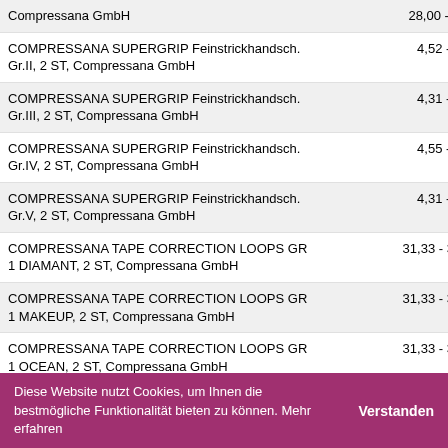| Product | Price |
| --- | --- |
| Compressana GmbH | 28,00 - ... |
| COMPRESSANA SUPERGRIP Feinstrickhandsch. Gr.II, 2 ST, Compressana GmbH | 4,52 - 9... |
| COMPRESSANA SUPERGRIP Feinstrickhandsch. Gr.III, 2 ST, Compressana GmbH | 4,31 - 9... |
| COMPRESSANA SUPERGRIP Feinstrickhandsch. Gr.IV, 2 ST, Compressana GmbH | 4,55 - 9... |
| COMPRESSANA SUPERGRIP Feinstrickhandsch. Gr.V, 2 ST, Compressana GmbH | 4,31 - 9... |
| COMPRESSANA TAPE CORRECTION LOOPS GR 1 DIAMANT, 2 ST, Compressana GmbH | 31,33 - 35... |
| COMPRESSANA TAPE CORRECTION LOOPS GR 1 MAKEUP, 2 ST, Compressana GmbH | 31,33 - 35... |
| COMPRESSANA TAPE CORRECTION LOOPS GR 1 OCEAN, 2 ST, Compressana GmbH | 31,33 - 35... |
| COMPRESSANA TAPE CORRECTION LOOPS GR 2 DIAMANT, 2 ST, Compressana GmbH | 31,33 - 35... |
| COMPRESSANA TAPE CORRECTION LOOPS GR 2 MAKEUP, 2 ST, Compressana GmbH | 24,37 - 35... |
| COMPRESSANA TAPE CORRECTION LOOPS GR 2 OCEAN, 2 ST, Compressana GmbH | 26,00 - 35... |
Diese Website nutzt Cookies, um Ihnen die bestmögliche Funktionalität bieten zu können. Mehr erfahren
Verstanden